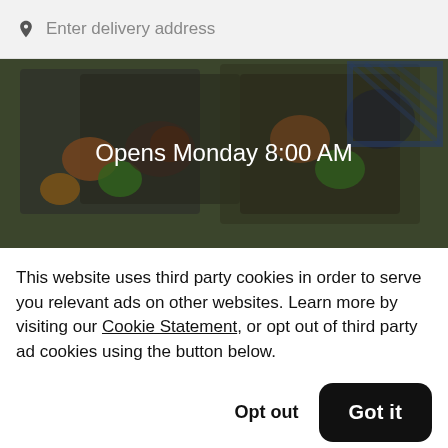Enter delivery address
[Figure (photo): Food photo showing plated dishes with text overlay 'Opens Monday 8:00 AM']
El Trópico Restaurant
This website uses third party cookies in order to serve you relevant ads on other websites. Learn more by visiting our Cookie Statement, or opt out of third party ad cookies using the button below.
Opt out
Got it